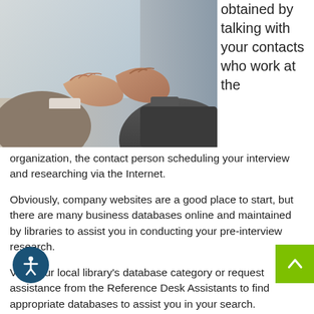[Figure (photo): Two people shaking hands in a professional setting, partial view showing hands and formal attire]
obtained by talking with your contacts who work at the organization, the contact person scheduling your interview and researching via the Internet.
Obviously, company websites are a good place to start, but there are many business databases online and maintained by libraries to assist you in conducting your pre-interview research.
Visit your local library's database category or request assistance from the Reference Desk Assistants to find appropriate databases to assist you in your search.
will be able to find out a range of information